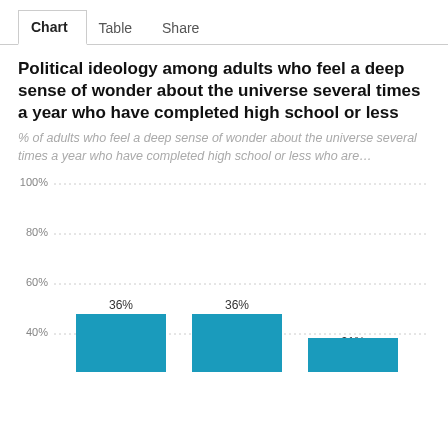Chart | Table | Share
Political ideology among adults who feel a deep sense of wonder about the universe several times a year who have completed high school or less
% of adults who feel a deep sense of wonder about the universe several times a year who have completed high school or less who are…
[Figure (bar-chart): Political ideology among adults who feel a deep sense of wonder about the universe several times a year who have completed high school or less]